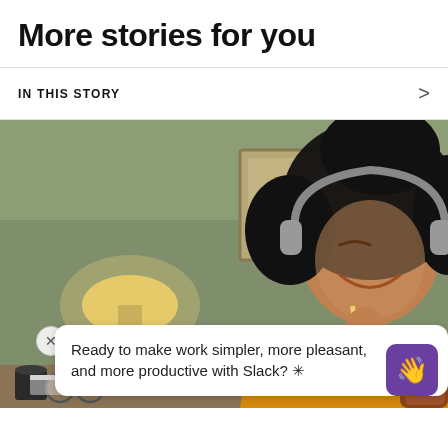More stories for you
IN THIS STORY
[Figure (photo): Woman wearing headphones and a yellow sweater, smiling and holding a pencil near her mouth, sitting at a desk with a lamp and laptop in the background]
Ready to make work simpler, more pleasant, and more productive with Slack? ✳